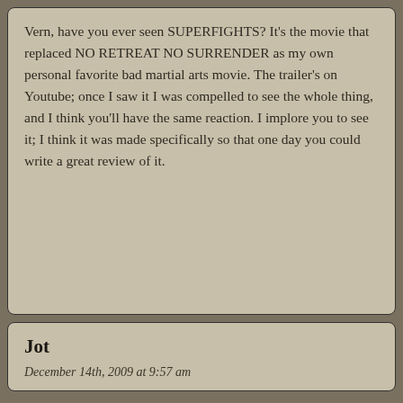Vern, have you ever seen SUPERFIGHTS? It’s the movie that replaced NO RETREAT NO SURRENDER as my own personal favorite bad martial arts movie. The trailer’s on Youtube; once I saw it I was compelled to see the whole thing, and I think you’ll have the same reaction. I implore you to see it; I think it was made specifically so that one day you could write a great review of it.
Jot
December 14th, 2009 at 9:57 am